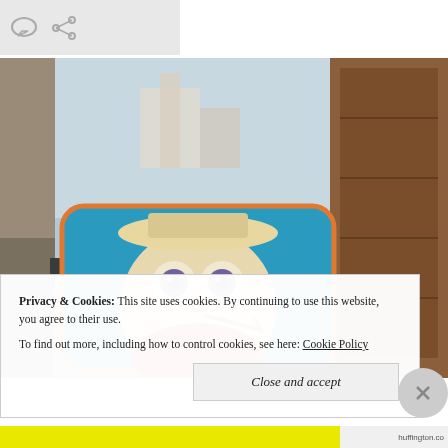[Figure (screenshot): Top bar with speech bubble icon and share icon on grey background]
[Figure (photo): Photo of a decorative pillow featuring a painted owl wearing a hat and holding a stick, placed outdoors with an urban street scene in the background]
Privacy & Cookies:  This site uses cookies. By continuing to use this website, you agree to their use.
To find out more, including how to control cookies, see here: Cookie Policy
Close and accept